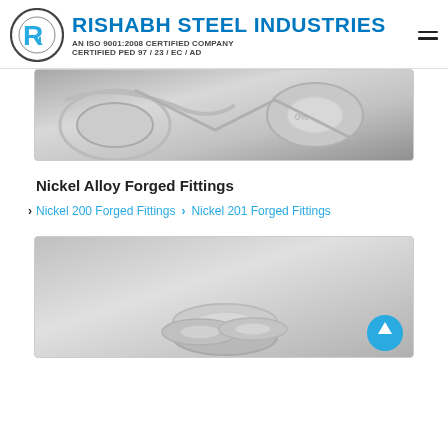[Figure (logo): Rishabh Steel Industries logo with circular R emblem and company name, ISO and PED certifications]
[Figure (photo): Close-up photo of metal forged fittings / nickel alloy components, top section]
Nickel Alloy Forged Fittings
Nickel 200 Forged Fittings
Nickel 201 Forged Fittings
[Figure (photo): Close-up photo of metal forged fittings / nickel alloy components, bottom section showing ring-shaped fittings]